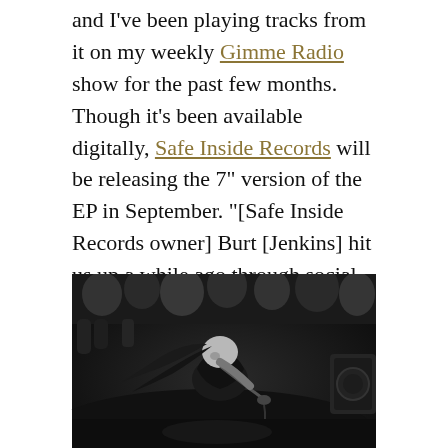and I've been playing tracks from it on my weekly Gimme Radio show for the past few months. Though it's been available digitally, Safe Inside Records will be releasing the 7" version of the EP in September. "[Safe Inside Records owner] Burt [Jenkins] hit us up a while ago through social media saying how he really likes our music and if we had anyone doing any vinyl for Eternal Despair. We didn't have any leads or even thought about putting vinyl out until he asked if he could do it. We were all really into the idea and now it's happening. We're really grateful for the opportunity for sure."
[Figure (photo): Black and white concert photo of a performer leaning forward intensely singing into a microphone, hair swinging forward, with audience members and stage equipment visible in the background.]